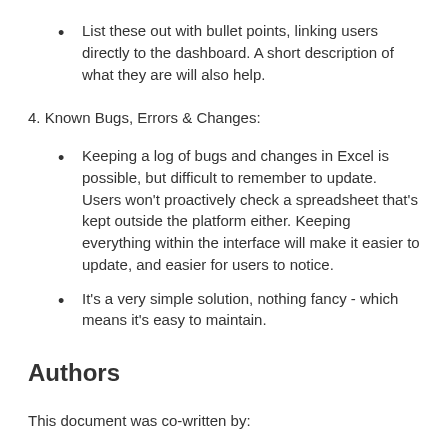List these out with bullet points, linking users directly to the dashboard. A short description of what they are will also help.
4. Known Bugs, Errors & Changes:
Keeping a log of bugs and changes in Excel is possible, but difficult to remember to update. Users won't proactively check a spreadsheet that's kept outside the platform either. Keeping everything within the interface will make it easier to update, and easier for users to notice.
It's a very simple solution, nothing fancy - which means it's easy to maintain.
Authors
This document was co-written by: